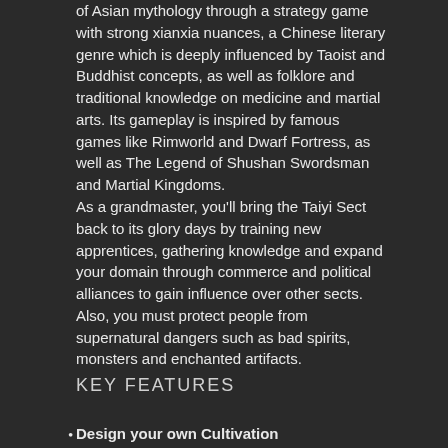of Asian mythology through a strategy game with strong xianxia nuances, a Chinese literary genre which is deeply influenced by Taoist and Buddhist concepts, as well as folklore and traditional knowledge on medicine and martial arts. Its gameplay is inspired by famous games like Rimworld and Dwarf Fortress, as well as The Legend of Shushan Swordsman and Martial Kingdoms.
As a grandmaster, you'll bring the Taiyi Sect back to its glory days by training new apprentices, gathering knowledge and expand your domain through commerce and political alliances to gain influence over other sects. Also, you must protect people from supernatural dangers such as bad spirits, monsters and enchanted artifacts.
KEY FEATURES
Design your own Cultivation